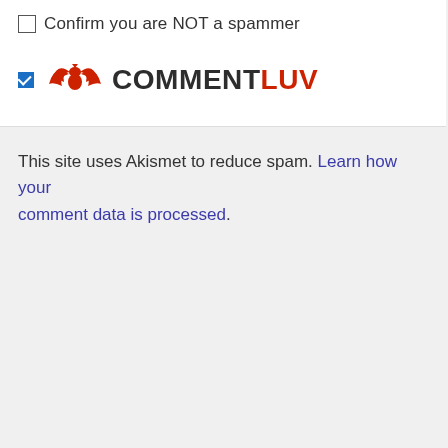Confirm you are NOT a spammer
[Figure (logo): CommentLuv logo with red bird/wings icon and text COMMENTLUV where COMMENT is dark and LUV is red]
This site uses Akismet to reduce spam. Learn how your comment data is processed.